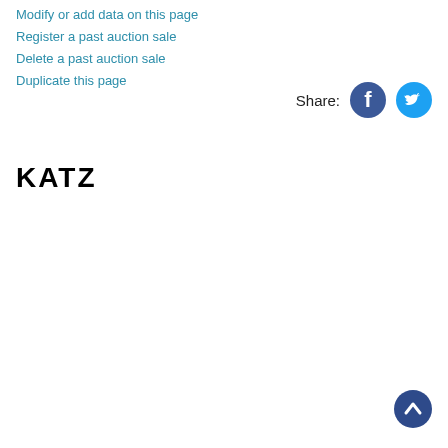Modify or add data on this page
Register a past auction sale
Delete a past auction sale
Duplicate this page
[Figure (other): Share label with Facebook and Twitter social media icon buttons]
[Figure (logo): KATZ logo in bold black text]
[Figure (other): Scroll-to-top button, dark blue circle with upward chevron arrow]